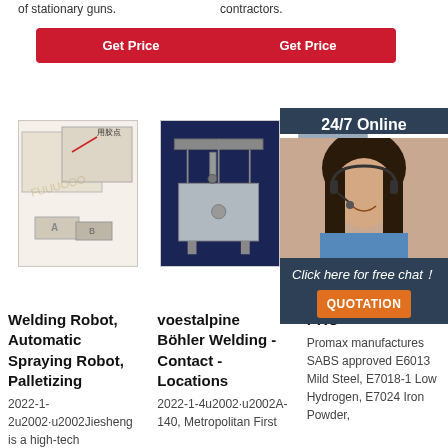of stationary guns.
contractors.
Get Price
Get Price
[Figure (photo): Product image showing boxes and containers with adhesive labeled 用胶点]
[Figure (photo): Industrial machine, stainless steel automatic spraying robot]
[Figure (photo): Partially visible industrial machine]
[Figure (photo): Customer service representative with headset, 24/7 Online panel with Click here for free chat and QUOTATION button]
Welding Robot, Automatic Spraying Robot, Palletizing
2022-1-2u2002·u2002Jiesheng is a high-tech
voestalpine Böhler Welding - Contact - Locations
2022-1-4u2002·u2002A-140, Metropolitan First
PRO
Promax manufactures SABS approved E6013 Mild Steel, E7018-1 Low Hydrogen, E7024 Iron Powder,